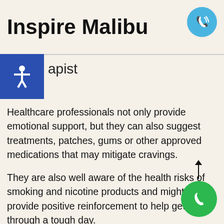Inspire Malibu
apist
Healthcare professionals not only provide emotional support, but they can also suggest treatments, patches, gums or other approved medications that may mitigate cravings.
They are also well aware of the health risks of smoking and nicotine products and might provide positive reinforcement to help get through a tough day.
It's important not to get discouraged. Take the opportunity to review the Quit Smoking Timeline to learn how quitting will add years of healthy living to you
The Great American Smokeout is the perfect time to quit smoking cigarettes, e-cigarettes, or vaping tobacco